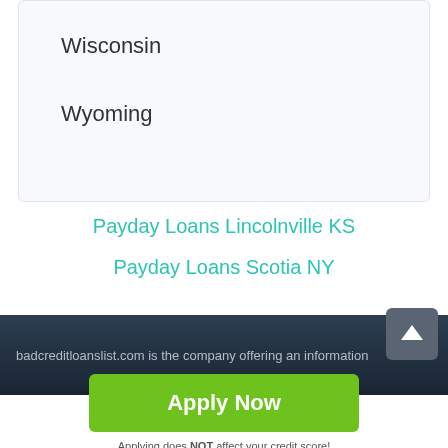Wisconsin
Wyoming
Payday Loans Lincolnville KS
Payday Loans Scotia NY
badcreditloanslist.com is the company offering an information
Apply Now
Applying does NOT affect your credit score!
No credit check to apply.